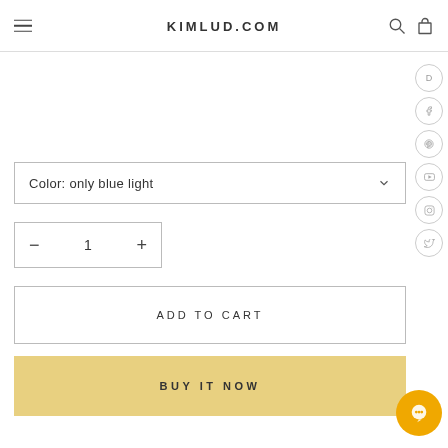KIMLUD.COM
Color: only blue light
1
ADD TO CART
BUY IT NOW